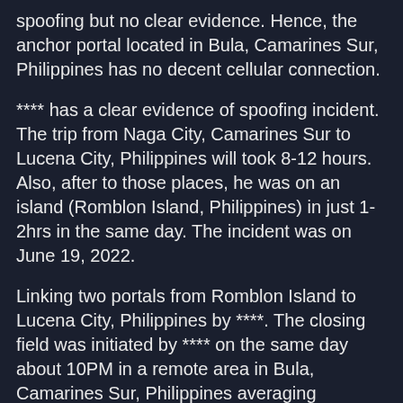...but no clear evidence. Hence, the anchor portal located in Bula, Camarines Sur, Philippines has no decent cellular connection.
**** has a clear evidence of spoofing incident. The trip from Naga City, Camarines Sur to Lucena City, Philippines will took 8-12 hours. Also, after to those places, he was on an island (Romblon Island, Philippines) in just 1-2hrs in the same day. The incident was on June 19, 2022.
Linking two portals from Romblon Island to Lucena City, Philippines by ****. The closing field was initiated by **** on the same day about 10PM in a remote area in Bula, Camarines Sur, Philippines averaging 400,000MU's.
alvillafuert on the other hand, doesn't have a clear evidence of spoofing but there's always a deployed resonator when ****is in activity.
Affected Portal in Naga City: San Alfonso Homes Grotto / 10:28 AM; Affected Portal in Lucena City: Villa's Carwash